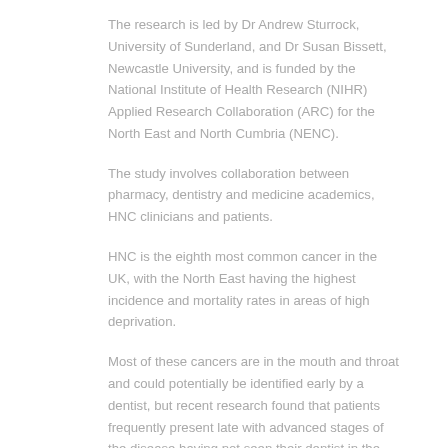The research is led by Dr Andrew Sturrock, University of Sunderland, and Dr Susan Bissett, Newcastle University, and is funded by the National Institute of Health Research (NIHR) Applied Research Collaboration (ARC) for the North East and North Cumbria (NENC).
The study involves collaboration between pharmacy, dentistry and medicine academics, HNC clinicians and patients.
HNC is the eighth most common cancer in the UK, with the North East having the highest incidence and mortality rates in areas of high deprivation.
Most of these cancers are in the mouth and throat and could potentially be identified early by a dentist, but recent research found that patients frequently present late with advanced stages of the disease having not seen their dentist in the two years prior to diagnosis, with uncertainty over costs and dental anxiety cited as the main reasons.